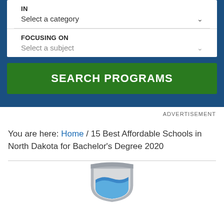IN
Select a category
FOCUSING ON
Select a subject
SEARCH PROGRAMS
ADVERTISEMENT
You are here: Home / 15 Best Affordable Schools in North Dakota for Bachelor's Degree 2020
[Figure (illustration): Partial shield/crest logo in grey and blue colors, cropped at the bottom of the page]